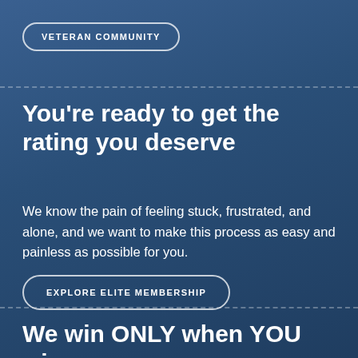VETERAN COMMUNITY
You're ready to get the rating you deserve
We know the pain of feeling stuck, frustrated, and alone, and we want to make this process as easy and painless as possible for you.
EXPLORE ELITE MEMBERSHIP
We win ONLY when YOU win